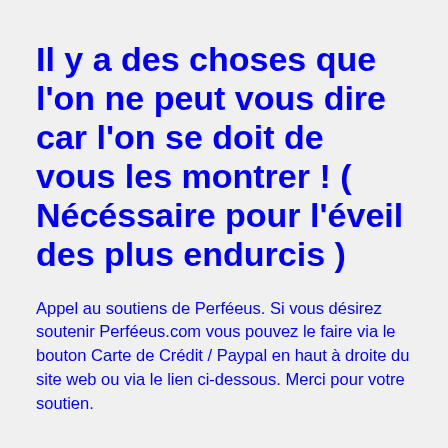Il y a des choses que l'on ne peut vous dire car l'on se doit de vous les montrer ! ( Nécéssaire pour l'éveil des plus endurcis )
Appel au soutiens de Perféeus. Si vous désirez soutenir Perféeus.com vous pouvez le faire via le bouton Carte de Crédit / Paypal en haut à droite du site web ou via le lien ci-dessous. Merci pour votre soutien.